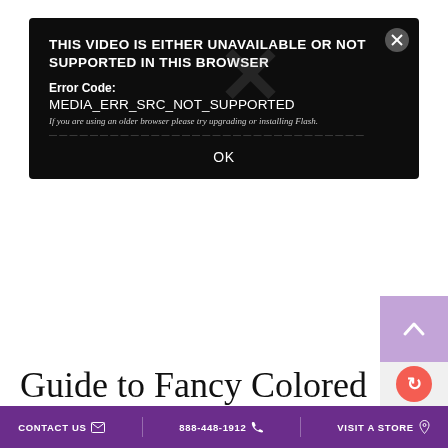[Figure (screenshot): Browser error dialog on dark background. Title: 'THIS VIDEO IS EITHER UNAVAILABLE OR NOT SUPPORTED IN THIS BROWSER'. Error Code: MEDIA_ERR_SRC_NOT_SUPPORTED. Hint: 'If you are using an older browser please try upgrading or installing Flash.' Partial ID line visible. OK button at bottom. Close X button top-right.]
Guide to Fancy Colored
CONTACT US   888-448-1912   VISIT A STORE